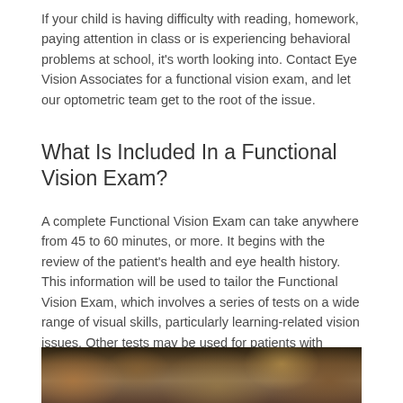If your child is having difficulty with reading, homework, paying attention in class or is experiencing behavioral problems at school, it's worth looking into. Contact Eye Vision Associates for a functional vision exam, and let our optometric team get to the root of the issue.
What Is Included In a Functional Vision Exam?
A complete Functional Vision Exam can take anywhere from 45 to 60 minutes, or more. It begins with the review of the patient's health and eye health history. This information will be used to tailor the Functional Vision Exam, which involves a series of tests on a wide range of visual skills, particularly learning-related vision issues. Other tests may be used for patients with developmental delays, brain injury and to examine sports vision.
[Figure (photo): A blurred/out-of-focus photograph, partially visible at the bottom of the page, showing warm earth tones suggesting an outdoor or nature scene.]